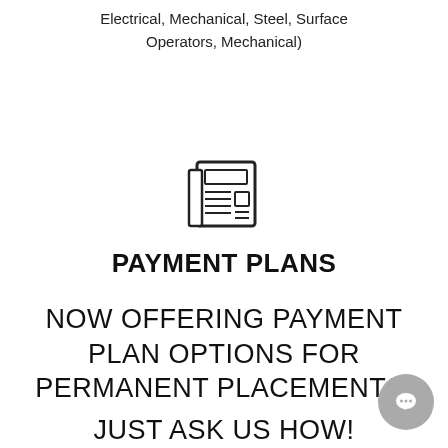Electrical, Mechanical, Steel, Surface Operators, Mechanical)
[Figure (illustration): Newspaper/document icon — a stylized newspaper with lines representing text, drawn with simple black outlines]
PAYMENT PLANS
NOW OFFERING PAYMENT PLAN OPTIONS FOR PERMANENT PLACEMENTS.
JUST ASK US HOW!